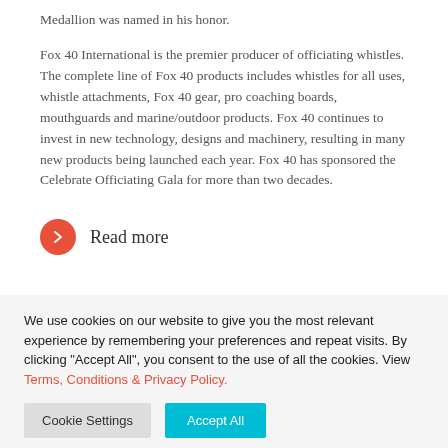Medallion was named in his honor.
Fox 40 International is the premier producer of officiating whistles. The complete line of Fox 40 products includes whistles for all uses, whistle attachments, Fox 40 gear, pro coaching boards, mouthguards and marine/outdoor products. Fox 40 continues to invest in new technology, designs and machinery, resulting in many new products being launched each year. Fox 40 has sponsored the Celebrate Officiating Gala for more than two decades.
Read more
We use cookies on our website to give you the most relevant experience by remembering your preferences and repeat visits. By clicking "Accept All", you consent to the use of all the cookies. View Terms, Conditions & Privacy Policy.